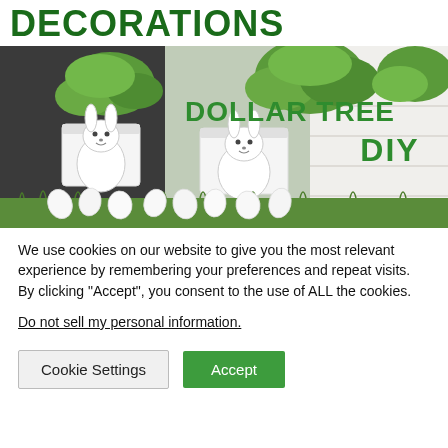DECORATIONS
[Figure (photo): Photo of Easter/spring DIY decorations from Dollar Tree: white metal buckets with bunny cut-outs, green foliage, and labeled Easter eggs in grass. Text overlay reads 'DOLLAR TREE DIY' in bold green.]
We use cookies on our website to give you the most relevant experience by remembering your preferences and repeat visits. By clicking “Accept”, you consent to the use of ALL the cookies.
Do not sell my personal information.
Cookie Settings   Accept